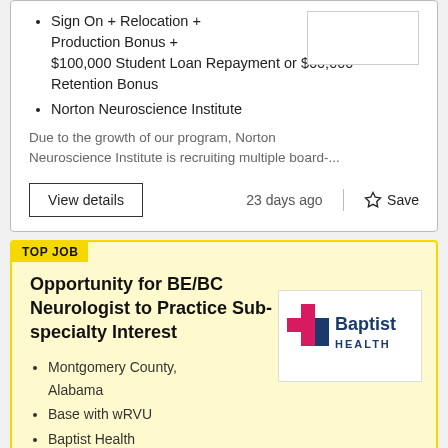Sign On + Relocation + Production Bonus + $100,000 Student Loan Repayment or $60,000 Retention Bonus
Norton Neuroscience Institute
Due to the growth of our program, Norton Neuroscience Institute is recruiting multiple board-...
View details
23 days ago
Save
TOP JOB
Opportunity for BE/BC Neurologist to Practice Sub-specialty Interest
Montgomery County, Alabama
Base with wRVU
Baptist Health
[Figure (logo): Baptist Health logo with pink and dark blue cross/plus symbol and the text 'Baptist HEALTH']